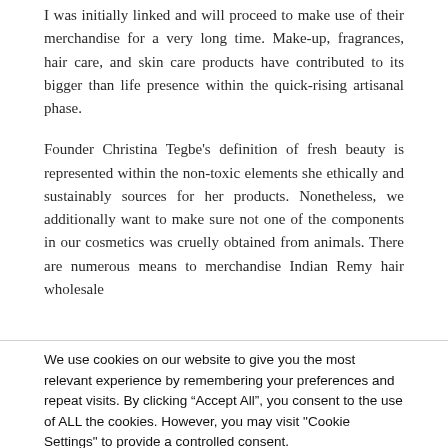I was initially linked and will proceed to make use of their merchandise for a very long time. Make-up, fragrances, hair care, and skin care products have contributed to its bigger than life presence within the quick-rising artisanal phase.
Founder Christina Tegbe's definition of fresh beauty is represented within the non-toxic elements she ethically and sustainably sources for her products. Nonetheless, we additionally want to make sure not one of the components in our cosmetics was cruelly obtained from animals. There are numerous means to merchandise Indian Remy hair wholesale
We use cookies on our website to give you the most relevant experience by remembering your preferences and repeat visits. By clicking “Accept All”, you consent to the use of ALL the cookies. However, you may visit "Cookie Settings" to provide a controlled consent.
Cookie Settings
Accept All